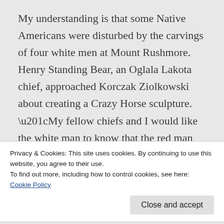My understanding is that some Native Americans were disturbed by the carvings of four white men at Mount Rushmore. Henry Standing Bear, an Oglala Lakota chief, approached Korczak Ziolkowski about creating a Crazy Horse sculpture. “My fellow chiefs and I would like the white man to know that the red man has great heroes, too,” Henry Standing Bear said. Work on the sculpture began in 1948 and continues today. On June 1, we met one of Ziolkowski’s sons who was eight years old
Privacy & Cookies: This site uses cookies. By continuing to use this website, you agree to their use.
To find out more, including how to control cookies, see here:
Cookie Policy
Close and accept
move to the side if tired—and stay in motion